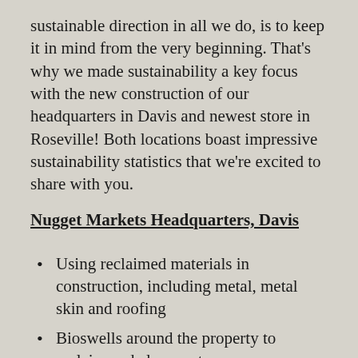sustainable direction in all we do, is to keep it in mind from the very beginning. That's why we made sustainability a key focus with the new construction of our headquarters in Davis and newest store in Roseville! Both locations boast impressive sustainability statistics that we're excited to share with you.
Nugget Markets Headquarters, Davis
Using reclaimed materials in construction, including metal, metal skin and roofing
Bioswells around the property to reclaim and clean water
Living green wall
State-of-the-art HVAC system to reduce total energy consumption
Powering our building using solar energy